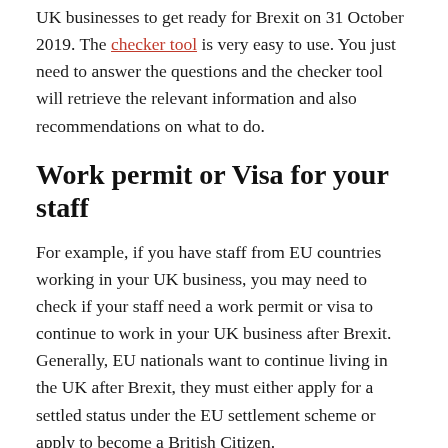UK businesses to get ready for Brexit on 31 October 2019. The checker tool is very easy to use. You just need to answer the questions and the checker tool will retrieve the relevant information and also recommendations on what to do.
Work permit or Visa for your staff
For example, if you have staff from EU countries working in your UK business, you may need to check if your staff need a work permit or visa to continue to work in your UK business after Brexit. Generally, EU nationals want to continue living in the UK after Brexit, they must either apply for a settled status under the EU settlement scheme or apply to become a British Citizen.